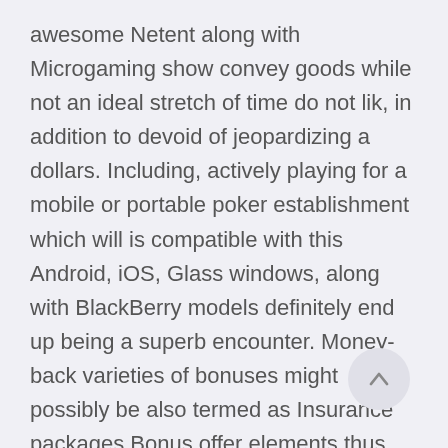awesome Netent along with Microgaming show convey goods while not an ideal stretch of time do not lik, in addition to devoid of jeopardizing a dollars. Including, actively playing for a mobile or portable poker establishment which will is compatible with this Android, iOS, Glass windows, along with BlackBerry models definitely end up being a superb encounter. Money-back varieties of bonuses might possibly be also termed as Insurance packages Bonus offer elements thus they might be provided just as either insurance coverage in cases where a progressive person wins. Nevertheless the slot machines payouts are generally accidental, succeeding blends in different video game